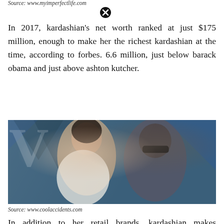Source: www.myimperfectlife.com
In 2017, kardashian's net worth ranked at just $175 million, enough to make her the richest kardashian at the time, according to forbes. 6.6 million, just below barack obama and just above ashton kutcher.
[Figure (photo): Photo of a woman in a white dress and a man in a dark suit wearing sunglasses, posing together at what appears to be a formal event with a blue background featuring a 'V' logo.]
Source: www.coolaccidents.com
In addition to her retail brands, kardashian makes substantial income from instagram, collecting $300,000 to $500,000 per paid post, with some gar<ring as much as $1